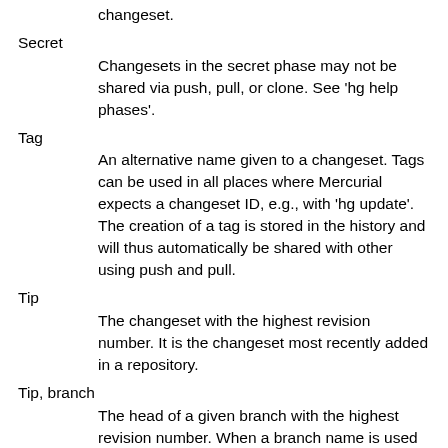changeset.
Secret
    Changesets in the secret phase may not be shared via push, pull, or clone. See 'hg help phases'.
Tag
    An alternative name given to a changeset. Tags can be used in all places where Mercurial expects a changeset ID, e.g., with 'hg update'. The creation of a tag is stored in the history and will thus automatically be shared with other using push and pull.
Tip
    The changeset with the highest revision number. It is the changeset most recently added in a repository.
Tip, branch
    The head of a given branch with the highest revision number. When a branch name is used as a revision identifier, it refers to the branch tip. See also 'Branch, head'. Note that because revision numbers may be